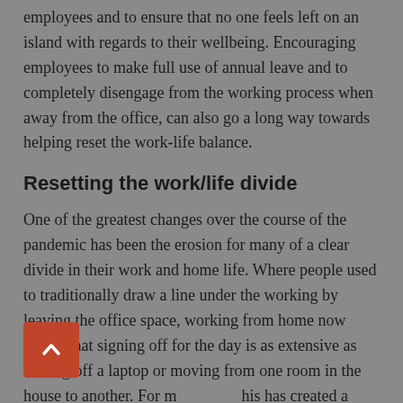employees and to ensure that no one feels left on an island with regards to their wellbeing. Encouraging employees to make full use of annual leave and to completely disengage from the working process when away from the office, can also go a long way towards helping reset the work-life balance.
Resetting the work/life divide
One of the greatest changes over the course of the pandemic has been the erosion for many of a clear divide in their work and home life. Where people used to traditionally draw a line under the working by leaving the office space, working from home now means that signing off for the day is as extensive as turning off a laptop or moving from one room in the house to another. For many, this has created a blurring of the traditional line between work and home.